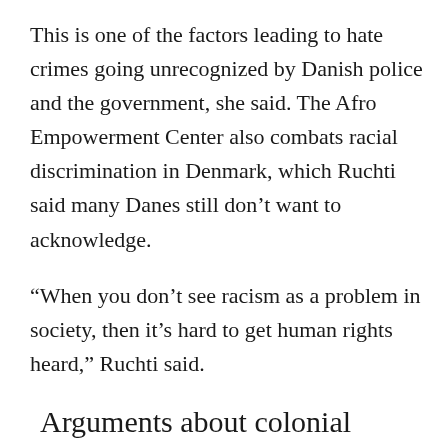This is one of the factors leading to hate crimes going unrecognized by Danish police and the government, she said. The Afro Empowerment Center also combats racial discrimination in Denmark, which Ruchti said many Danes still don't want to acknowledge.
“When you don’t see racism as a problem in society, then it’s hard to get human rights heard,” Ruchti said.
Arguments about colonial foods and their packaging often hinge on the idea that these products